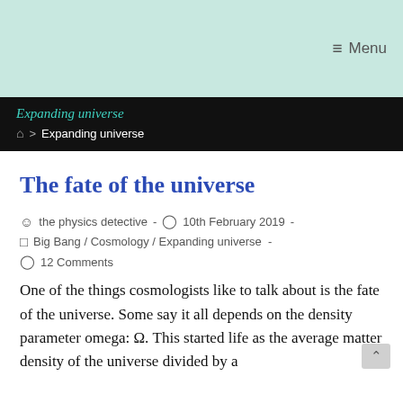≡ Menu
Expanding universe
⌂ > Expanding universe
The fate of the universe
the physics detective - 10th February 2019 -
Big Bang / Cosmology / Expanding universe -
12 Comments
One of the things cosmologists like to talk about is the fate of the universe. Some say it all depends on the density parameter omega: Ω. This started life as the average matter density of the universe divided by a